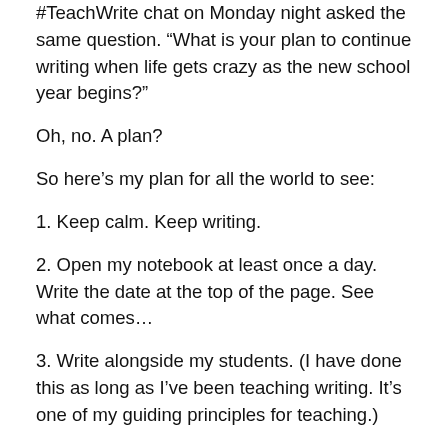#TeachWrite chat on Monday night asked the same question. “What is your plan to continue writing when life gets crazy as the new school year begins?”
Oh, no. A plan?
So here’s my plan for all the world to see:
1. Keep calm. Keep writing.
2. Open my notebook at least once a day. Write the date at the top of the page. See what comes…
3. Write alongside my students. (I have done this as long as I’ve been teaching writing. It’s one of my guiding principles for teaching.)
4. Don’t feel guilty if a day goes by, and I didn't write. Some days are like that. Realize that there may be other